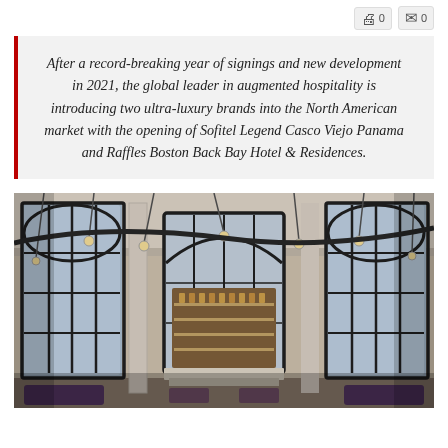Print 0  Mail 0
After a record-breaking year of signings and new development in 2021, the global leader in augmented hospitality is introducing two ultra-luxury brands into the North American market with the opening of Sofitel Legend Casco Viejo Panama and Raffles Boston Back Bay Hotel & Residences.
[Figure (photo): Interior photo of a luxury hotel lobby/bar area with tall arched black-framed windows, illuminated shelving unit with bottles, hanging Edison bulb lights, white ornate columns, and purple velvet seating.]